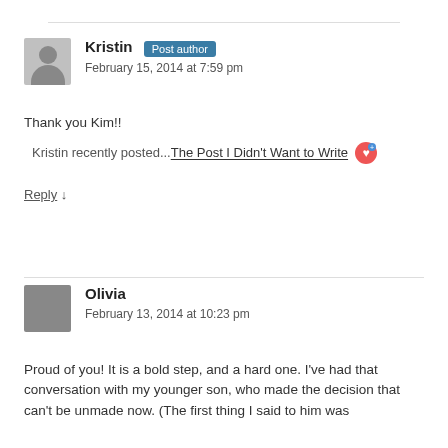Kristin Post author
February 15, 2014 at 7:59 pm
Thank you Kim!!
Kristin recently posted...The Post I Didn't Want to Write
Reply ↓
Olivia
February 13, 2014 at 10:23 pm
Proud of you! It is a bold step, and a hard one. I've had that conversation with my younger son, who made the decision that can't be unmade now. (The first thing I said to him was